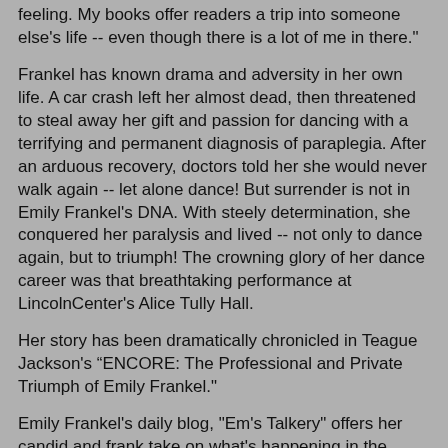feeling. My books offer readers a trip into someone else's life -- even though there is a lot of me in there."
Frankel has known drama and adversity in her own life. A car crash left her almost dead, then threatened to steal away her gift and passion for dancing with a terrifying and permanent diagnosis of paraplegia. After an arduous recovery, doctors told her she would never walk again -- let alone dance! But surrender is not in Emily Frankel's DNA. With steely determination, she conquered her paralysis and lived -- not only to dance again, but to triumph! The crowning glory of her dance career was that breathtaking performance at LincolnCenter's Alice Tully Hall.
Her story has been dramatically chronicled in Teague Jackson's “ENCORE: The Professional and Private Triumph of Emily Frankel."
Emily Frankel's daily blog, "Em's Talkery" offers her candid and frank take on what's happening in the world today -- from politics and pop culture to art and entertainment.
Together, readers Emily Frankel Gallery, more, alongside...